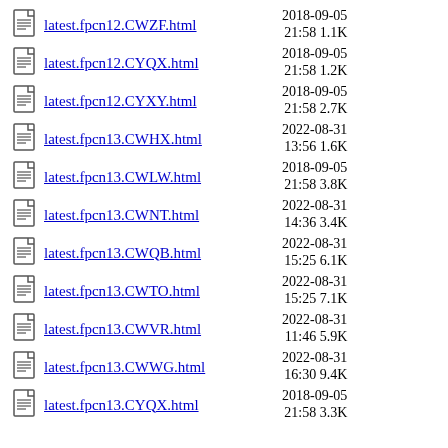latest.fpcn12.CWZF.html  2018-09-05 21:58  1.1K
latest.fpcn12.CYQX.html  2018-09-05 21:58  1.2K
latest.fpcn12.CYXY.html  2018-09-05 21:58  2.7K
latest.fpcn13.CWHX.html  2022-08-31 13:56  1.6K
latest.fpcn13.CWLW.html  2018-09-05 21:58  3.8K
latest.fpcn13.CWNT.html  2022-08-31 14:36  3.4K
latest.fpcn13.CWQB.html  2022-08-31 15:25  6.1K
latest.fpcn13.CWTO.html  2022-08-31 15:25  7.1K
latest.fpcn13.CWVR.html  2022-08-31 11:46  5.9K
latest.fpcn13.CWWG.html  2022-08-31 16:30  9.4K
latest.fpcn13.CYQX.html  2018-09-05 21:58  3.3K